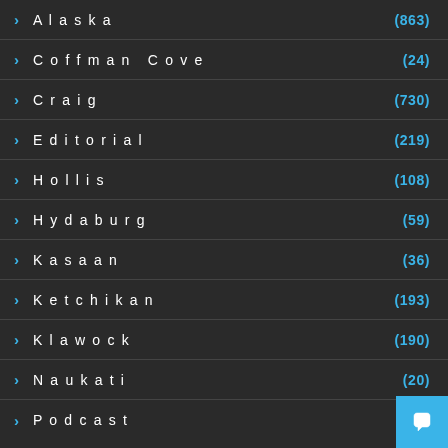Alaska (863)
Coffman Cove (24)
Craig (730)
Editorial (219)
Hollis (108)
Hydaburg (59)
Kasaan (36)
Ketchikan (193)
Klawock (190)
Naukati (20)
Podcast (45)